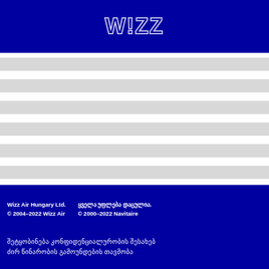[Figure (logo): Wizz Air logo in white/outline on dark blue background]
[Figure (other): Multiple horizontal grey stripes on white background representing loading/content placeholder]
Wizz Air Hungary Ltd.
© 2004–2022 Wizz Air
ყველა უფლება დაცულია.
© 2000–2022 Navitaire
შეტყობინება კონფიდენციალურობის შესახებ
ძირ წინარობის გამოუნდების თავმობა